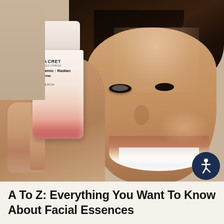[Figure (photo): A smiling woman with dark hair pulled back holds up a SEACRET Dynamic Radiance Essence skincare bottle (pink/white bottle, 30ml) against a warm beige/tan background. The woman has glowing skin and is smiling broadly.]
A To Z: Everything You Want To Know About Facial Essences